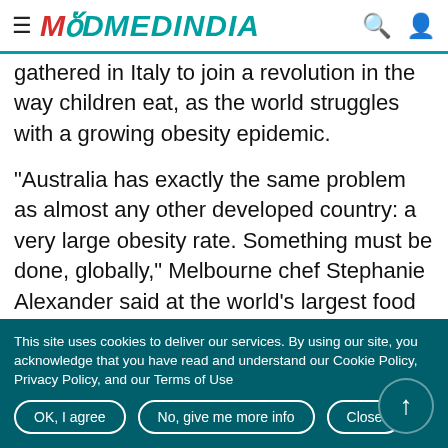MEDINDIA
gathered in Italy to join a revolution in the way children eat, as the world struggles with a growing obesity epidemic.
"Australia has exactly the same problem as almost any other developed country: a very large obesity rate. Something must be done, globally," Melbourne chef Stephanie Alexander said at the world's largest food fair in Turin.
This site uses cookies to deliver our services. By using our site, you acknowledge that you have read and understand our Cookie Policy, Privacy Policy, and our Terms of Use